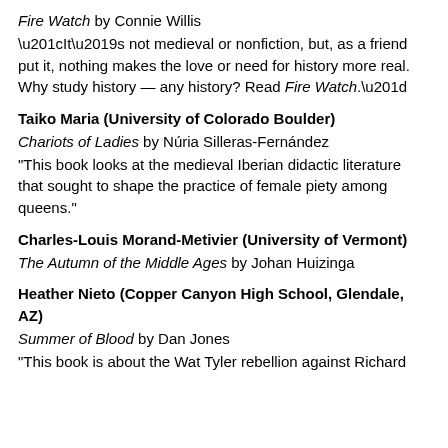Fire Watch by Connie Willis
“It’s not medieval or nonfiction, but, as a friend put it, nothing makes the love or need for history more real. Why study history — any history? Read Fire Watch.”
Taiko Maria (University of Colorado Boulder)
Chariots of Ladies by Núria Silleras-Fernández
“This book looks at the medieval Iberian didactic literature that sought to shape the practice of female piety among queens.”
Charles-Louis Morand-Metivier (University of Vermont)
The Autumn of the Middle Ages by Johan Huizinga
Heather Nieto (Copper Canyon High School, Glendale, AZ)
Summer of Blood by Dan Jones
“This book is about the Wat Tyler rebellion against Richard